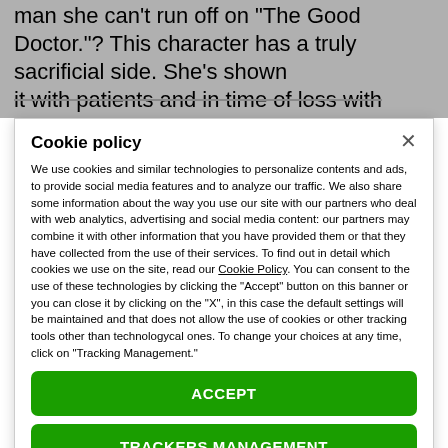man she can't run off on "The Good Doctor."? This character has a truly sacrificial side. She's shown it with patients and in time of loss with Claire
Cookie policy
We use cookies and similar technologies to personalize contents and ads, to provide social media features and to analyze our traffic. We also share some information about the way you use our site with our partners who deal with web analytics, advertising and social media content: our partners may combine it with other information that you have provided them or that they have collected from the use of their services. To find out in detail which cookies we use on the site, read our Cookie Policy. You can consent to the use of these technologies by clicking the "Accept" button on this banner or you can close it by clicking on the "X", in this case the default settings will be maintained and that does not allow the use of cookies or other tracking tools other than technologycal ones. To change your choices at any time, click on “Tracking Management.”
ACCEPT
TRACKERS MANAGEMENT
Show vendors | Show purposes